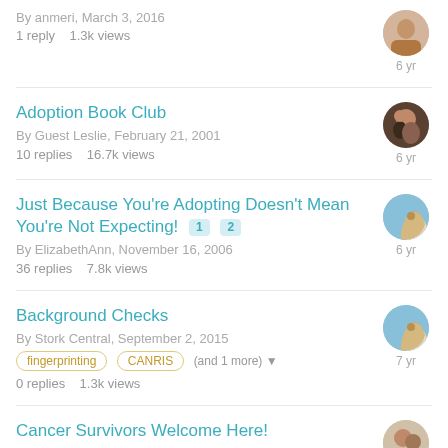By anmeri, March 3, 2016
1 reply   1.3k views
Adoption Book Club
By Guest Leslie, February 21, 2001
10 replies   16.7k views
Just Because You're Adopting Doesn't Mean You're Not Expecting! [1] [2]
By ElizabethAnn, November 16, 2006
36 replies   7.8k views
Background Checks
By Stork Central, September 2, 2015
fingerprinting   CANRIS   (and 1 more)
0 replies   1.3k views
Cancer Survivors Welcome Here!